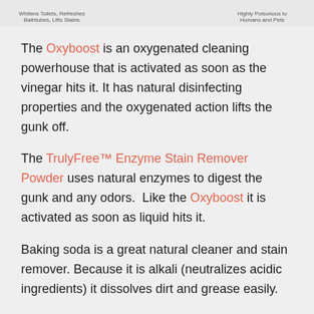[Figure (other): Top strip showing product images with labels: 'Whitens Toilets, Refreshes Bathtubes, Lifts Stains' on left, product image in center, and 'Highly Poisonous to Humans and Pets' on right]
The Oxyboost is an oxygenated cleaning powerhouse that is activated as soon as the vinegar hits it. It has natural disinfecting properties and the oxygenated action lifts the gunk off.
The TrulyFree™ Enzyme Stain Remover Powder uses natural enzymes to digest the gunk and any odors. Like the Oxyboost it is activated as soon as liquid hits it.
Baking soda is a great natural cleaner and stain remover. Because it is alkali (neutralizes acidic ingredients) it dissolves dirt and grease easily.